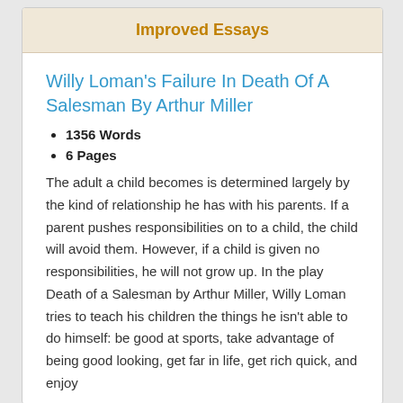Improved Essays
Willy Loman's Failure In Death Of A Salesman By Arthur Miller
1356 Words
6 Pages
The adult a child becomes is determined largely by the kind of relationship he has with his parents. If a parent pushes responsibilities on to a child, the child will avoid them. However, if a child is given no responsibilities, he will not grow up. In the play Death of a Salesman by Arthur Miller, Willy Loman tries to teach his children the things he isn't able to do himself: be good at sports, take advantage of being good looking, get far in life, get rich quick, and enjoy